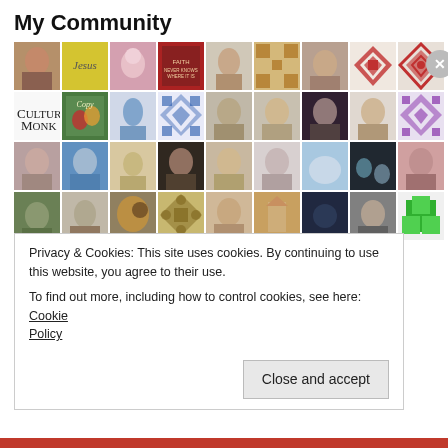My Community
[Figure (photo): Grid of community member profile photos and decorative pattern tiles arranged in a 9-column by 5-row grid. Photos include portraits of people, decorative quilt patterns in various colors, and other imagery.]
Privacy & Cookies: This site uses cookies. By continuing to use this website, you agree to their use.
To find out more, including how to control cookies, see here: Cookie Policy
Close and accept